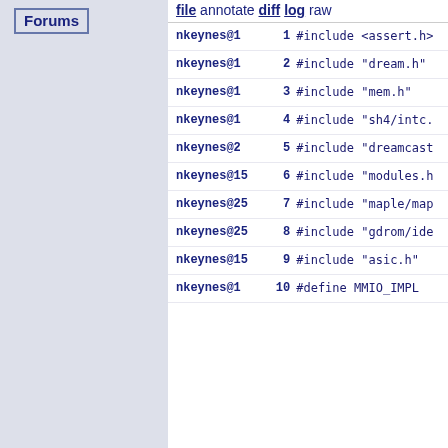Forums
file annotate diff log raw
| Author | Line | Code |
| --- | --- | --- |
| nkeynes@1 | 1 | #include <assert.h> |
| nkeynes@1 | 2 | #include "dream.h" |
| nkeynes@1 | 3 | #include "mem.h" |
| nkeynes@1 | 4 | #include "sh4/intc. |
| nkeynes@2 | 5 | #include "dreamcast |
| nkeynes@15 | 6 | #include "modules.h |
| nkeynes@25 | 7 | #include "maple/map |
| nkeynes@25 | 8 | #include "gdrom/ide |
| nkeynes@15 | 9 | #include "asic.h" |
| nkeynes@1 | 10 | #define MMIO_IMPL |